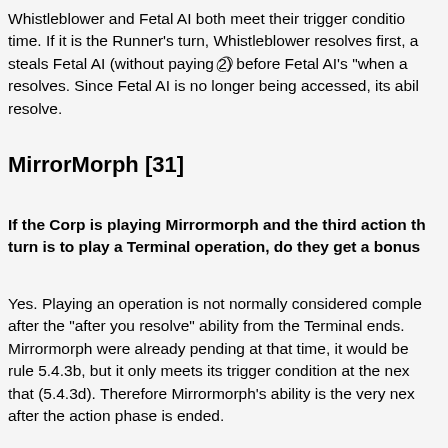Whistleblower and Fetal AI both meet their trigger condition at the same time. If it is the Runner's turn, Whistleblower resolves first, and steals Fetal AI (without paying 2⃝) before Fetal AI's "when accessed" resolves. Since Fetal AI is no longer being accessed, its ability does not resolve.
MirrorMorph [31]
If the Corp is playing Mirrormorph and the third action this turn is to play a Terminal operation, do they get a bonus action?
Yes. Playing an operation is not normally considered complete until after the "after you resolve" ability from the Terminal ends. If Mirrormorph were already pending at that time, it would be skipped per rule 5.4.3b, but it only meets its trigger condition at the next checkpoint after that (5.4.3d). Therefore Mirrormorph's ability is the very next ability resolved after the action phase is ended.